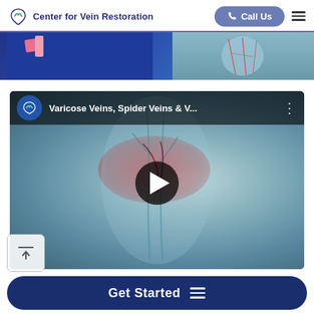Center for Vein Restoration | Call Us
[Figure (photo): Partial hero banner showing a person in a navy blue blazer with a pink pocket square on the left, and a medical illustration of leg veins on the right]
[Figure (screenshot): YouTube video thumbnail titled 'Varicose Veins, Spider Veins & V...' showing a 3D medical illustration of leg veins with reddish highlighted areas, featuring a play button overlay and the Center for Vein Restoration YouTube channel avatar]
Get Started